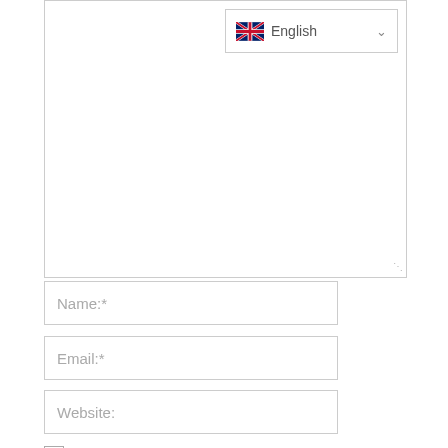[Figure (screenshot): Textarea input box with English language dropdown selector in top-right corner and resize handle at bottom-right]
Name:*
Email:*
Website:
Save my name, email, and website in this browser for the next time I comment.
Notify me by email when the comment gets approved